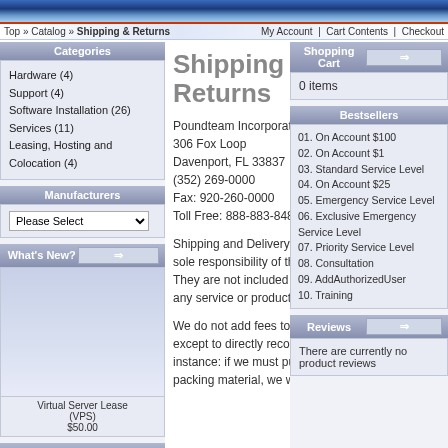Top » Catalog » Shipping & Returns | My Account | Cart Contents | Checkout
Categories
Hardware (4)
Support (4)
Software Installation (26)
Services (11)
Leasing, Hosting and Colocation (4)
Manufacturers
What's New?
Virtual Server Lease (VPS)
$50.00
Quick Find
Shipping & Returns
Poundteam Incorporated
306 Fox Loop
Davenport, FL 33837
(352) 269-0000
Fax: 920-260-0000
Toll Free: 888-883-8488
Shipping and Delivery charges are the sole responsibility of the purchaser. They are not included in the cost of any service or product purchased.
We do not add fees to shipping costs except to directly recoup our costs. For instance: if we must purchase a box or packing material, we will charge these
Shopping Cart
0 items
Bestsellers
01. On Account $100
02. On Account $1
03. Standard Service Level
04. On Account $25
05. Emergency Service Level
06. Exclusive Emergency Service Level
07. Priority Service Level
08. Consultation
09. AddAuthorizedUser
10. Training
Reviews
There are currently no product reviews